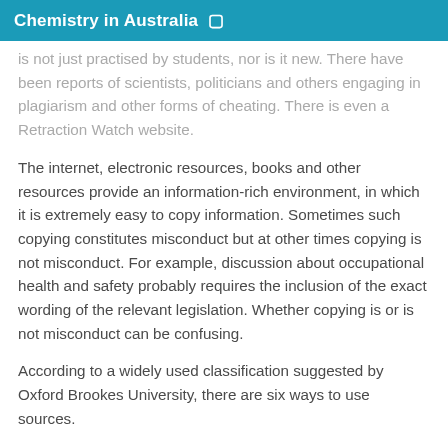Chemistry in Australia
is not just practised by students, nor is it new. There have been reports of scientists, politicians and others engaging in plagiarism and other forms of cheating. There is even a Retraction Watch website.
The internet, electronic resources, books and other resources provide an information-rich environment, in which it is extremely easy to copy information. Sometimes such copying constitutes misconduct but at other times copying is not misconduct. For example, discussion about occupational health and safety probably requires the inclusion of the exact wording of the relevant legislation. Whether copying is or is not misconduct can be confusing.
According to a widely used classification suggested by Oxford Brookes University, there are six ways to use sources.
A. Quoting — reproducing a section from